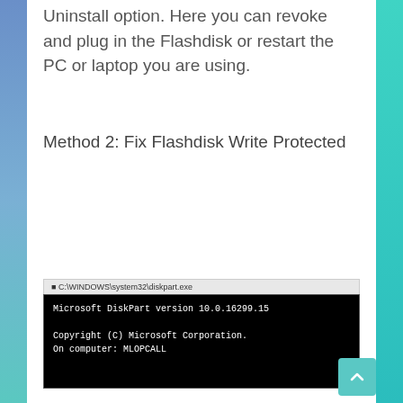Uninstall option. Here you can revoke and plug in the Flashdisk or restart the PC or laptop you are using.
Method 2: Fix Flashdisk Write Protected
[Figure (screenshot): Windows Command Prompt (C:\WINDOWS\system32\diskpart.exe) showing Microsoft DiskPart version 10.0.16299.15, Copyright (C) Microsoft Corporation, On computer: MLOPCALL]